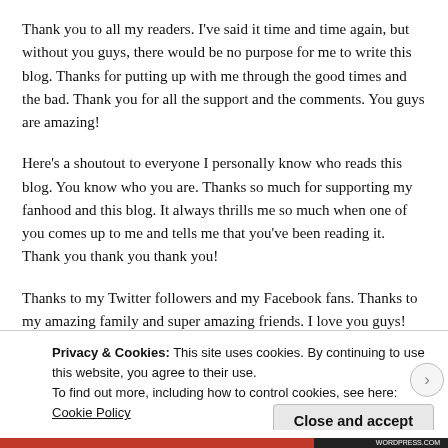Thank you to all my readers. I've said it time and time again, but without you guys, there would be no purpose for me to write this blog. Thanks for putting up with me through the good times and the bad. Thank you for all the support and the comments. You guys are amazing!
Here's a shoutout to everyone I personally know who reads this blog. You know who you are. Thanks so much for supporting my fanhood and this blog. It always thrills me so much when one of you comes up to me and tells me that you've been reading it. Thank you thank you thank you!
Thanks to my Twitter followers and my Facebook fans. Thanks to my amazing family and super amazing friends. I love you guys!
Thanks to my Heavenly Father, who has blessed me so much. Without
Privacy & Cookies: This site uses cookies. By continuing to use this website, you agree to their use.
To find out more, including how to control cookies, see here: Cookie Policy
Close and accept